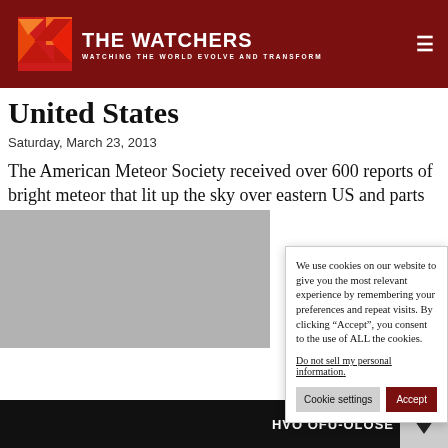THE WATCHERS — WATCHING THE WORLD EVOLVE AND TRANSFORM
United States
Saturday, March 23, 2013
The American Meteor Society received over 600 reports of bright meteor that lit up the sky over eastern US and parts of Canada on Friday, March 22, 20[13]. [It was bright] enough to be [seen] around 8 pm
[Figure (photo): Gray sky or outdoor photo, partially visible]
We use cookies on our website to give you the most relevant experience by remembering your preferences and repeat visits. By clicking “Accept”, you consent to the use of ALL the cookies.
Do not sell my personal information.
HVO OFU-OLOSE